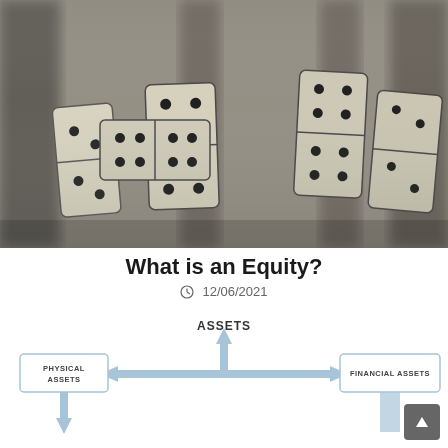[Figure (photo): Close-up photograph of domino tiles arranged in a row on a surface, with blurred background showing more dominoes. Tiles are cream/ivory colored with black dots.]
What is an Equity?
12/06/2021
[Figure (flowchart): Diagram showing ASSETS at the top with an upward arrow, connected horizontally via double-headed arrow to PHYSICAL ASSETS box on the left and FINANCIAL ASSETS box on the right. Additional arrows point downward from both sides.]